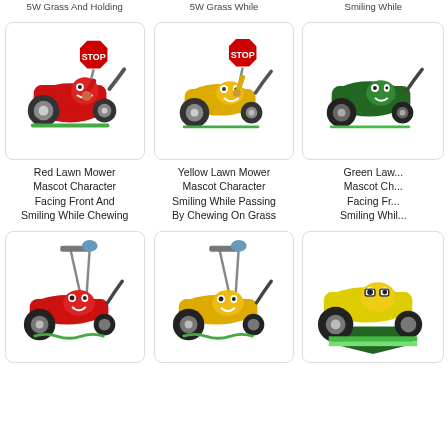5W Grass And Holding
5W Grass While
Smiling While
[Figure (illustration): Red cartoon lawn mower mascot character holding a stop sign, facing front and smiling while chewing grass]
Red Lawn Mower Mascot Character Facing Front And Smiling While Chewing
[Figure (illustration): Yellow cartoon lawn mower mascot character holding a stop sign, smiling while passing by chewing on grass]
Yellow Lawn Mower Mascot Character Smiling While Passing By Chewing On Grass
[Figure (illustration): Green cartoon lawn mower mascot character facing front and smiling while chewing]
Green Lawn Mower Mascot Character Facing Front And Smiling While
[Figure (illustration): Red cartoon lawn mower mascot character with gardening tools]
[Figure (illustration): Yellow cartoon lawn mower mascot character with gardening tools]
[Figure (illustration): Yellow-green cartoon lawn mower mascot character on grass]